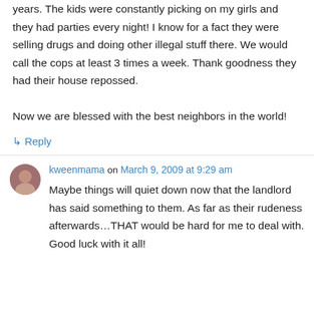years. The kids were constantly picking on my girls and they had parties every night! I know for a fact they were selling drugs and doing other illegal stuff there. We would call the cops at least 3 times a week. Thank goodness they had their house repossed.
Now we are blessed with the best neighbors in the world!
↳ Reply
kweenmama on March 9, 2009 at 9:29 am
Maybe things will quiet down now that the landlord has said something to them. As far as their rudeness afterwards…THAT would be hard for me to deal with. Good luck with it all!